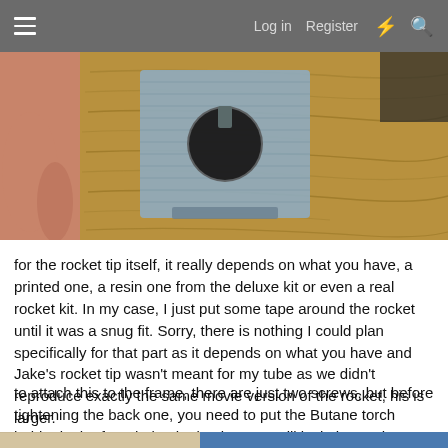Log in  Register
[Figure (photo): Close-up photo of a metal bracket with a circular hole and a small protrusion, held by a hand, against a wooden background (OSB/chipboard).]
for the rocket tip itself, it really depends on what you have, a printed one, a resin one from the deluxe kit or even a real rocket kit. In my case, I just put some tape around the rocket until it was a snug fit. Sorry, there is nothing I could plan specifically for that part as it depends on what you have and Jake's rocket tip wasn't meant for my tube as we didn't reproduce exactly the same movie version of the rocket, his is larger.
to attach this to the frame, there are just two screws, but before tightening the back one, you need to put the Butane torch holder in the front hole, the back screw will lock the torch support with a slot on it's side:
[Figure (photo): Bottom portion of a photo showing part of an assembly, partially visible at the bottom of the page.]